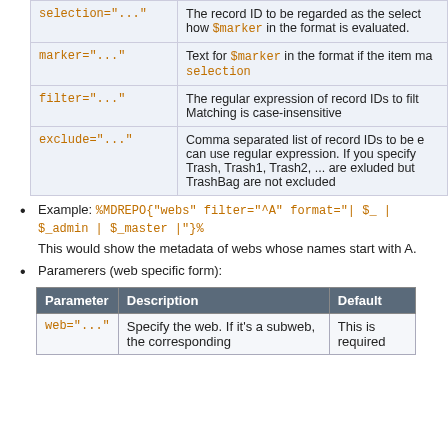|  |  |
| --- | --- |
| selection="..." | The record ID to be regarded as the select how $marker in the format is evaluated. |
| marker="..." | Text for $marker in the format if the item ma selection |
| filter="..." | The regular expression of record IDs to filt Matching is case-insensitive |
| exclude="..." | Comma separated list of record IDs to be c can use regular expression. If you specify Trash, Trash1, Trash2, ... are exluded but TrashBag are not excluded |
Example: %MDREPO{"webs" filter="^A" format="| $_ | $_admin | $_master |"}%
This would show the metadata of webs whose names start with A.
Paramerers (web specific form):
| Parameter | Description | Default |
| --- | --- | --- |
| web="..." | Specify the web. If it's a subweb, the corresponding | This is required |